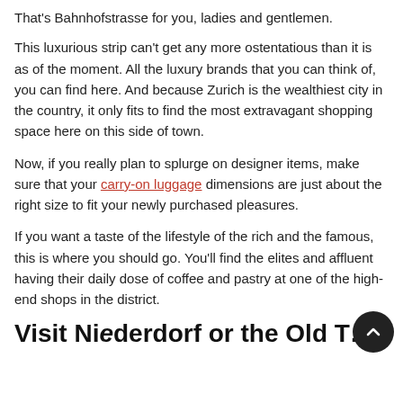That's Bahnhofstrasse for you, ladies and gentlemen.
This luxurious strip can't get any more ostentatious than it is as of the moment. All the luxury brands that you can think of, you can find here. And because Zurich is the wealthiest city in the country, it only fits to find the most extravagant shopping space here on this side of town.
Now, if you really plan to splurge on designer items, make sure that your carry-on luggage dimensions are just about the right size to fit your newly purchased pleasures.
If you want a taste of the lifestyle of the rich and the famous, this is where you should go. You'll find the elites and affluent having their daily dose of coffee and pastry at one of the high-end shops in the district.
Visit Niederdorf or the Old T…